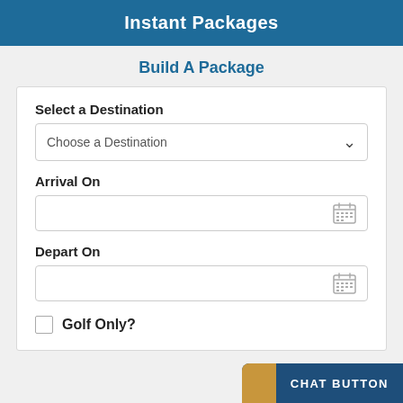Instant Packages
Build A Package
Select a Destination
Choose a Destination
Arrival On
Depart On
Golf Only?
CHAT BUTTON